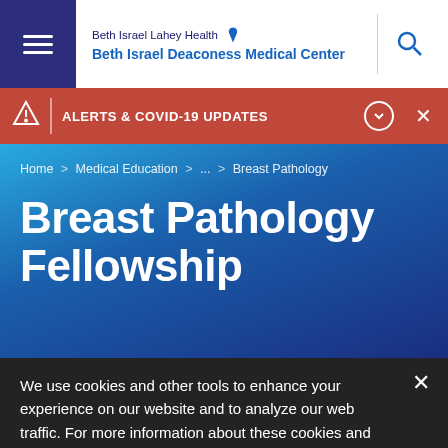Beth Israel Lahey Health Beth Israel Deaconess Medical Center
ALERTS & COVID-19 UPDATES
Home > Medical Education > ... > Breast Pathology
Breast Pathology Fellowship
We use cookies and other tools to enhance your experience on our website and to analyze our web traffic. For more information about these cookies and the data collected, please refer to our web privacy statement.
More Within Pathology Fellowship